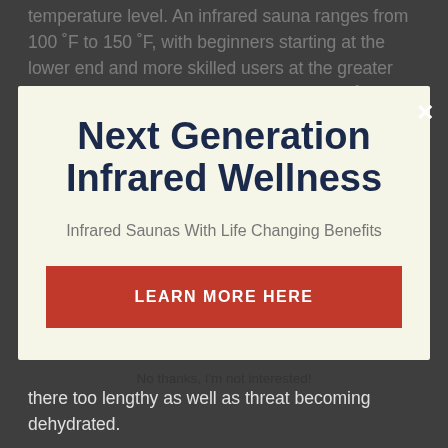temperature level. An infrared sauna ranges from 100 °F to 150 °F, with beginners starting at the lower end and more skilled users at the greater end. If this is your first time, start with 100 °F. You
Next Generation Infrared Wellness
Infrared Saunas With Life Changing Benefits
LEARN MORE HERE
No thanks, I'm not interested!
there too lengthy as well as threat becoming dehydrated.